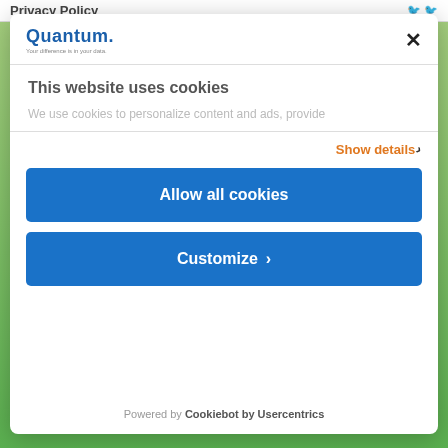Privacy Policy
[Figure (logo): Quantum logo with tagline 'Your difference is in your data']
This website uses cookies
We use cookies to personalize content and ads, provide
Show details ›
Allow all cookies
Customize ›
Powered by Cookiebot by Usercentrics